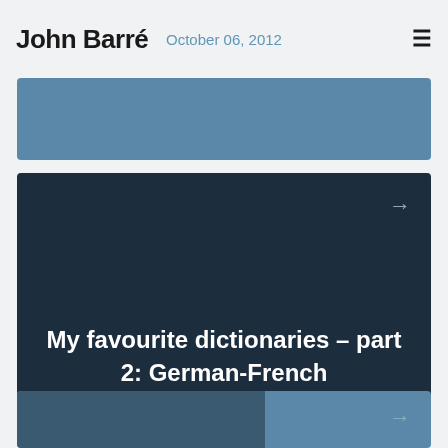John Barré
October 06, 2012
[Figure (other): Partially visible blue-steel card at top]
My favourite dictionaries – part 2: German-French
October 01, 2012
[Figure (other): Partially visible blue-steel card at bottom with dark overlay on left side]